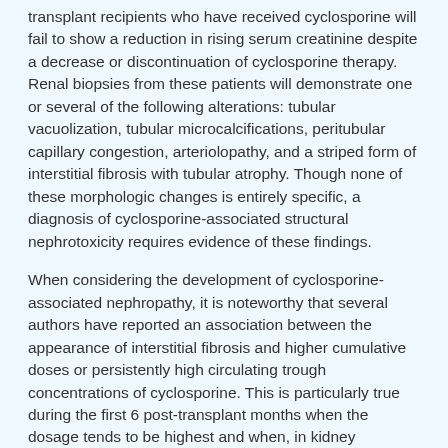transplant recipients who have received cyclosporine will fail to show a reduction in rising serum creatinine despite a decrease or discontinuation of cyclosporine therapy. Renal biopsies from these patients will demonstrate one or several of the following alterations: tubular vacuolization, tubular microcalcifications, peritubular capillary congestion, arteriolopathy, and a striped form of interstitial fibrosis with tubular atrophy. Though none of these morphologic changes is entirely specific, a diagnosis of cyclosporine-associated structural nephrotoxicity requires evidence of these findings.
When considering the development of cyclosporine-associated nephropathy, it is noteworthy that several authors have reported an association between the appearance of interstitial fibrosis and higher cumulative doses or persistently high circulating trough concentrations of cyclosporine. This is particularly true during the first 6 post-transplant months when the dosage tends to be highest and when, in kidney recipients, the organ appears to be most vulnerable to the toxic effects of cyclosporine. Among other contributing factors to the development of interstitial fibrosis in these patients are prolonged perfusion time